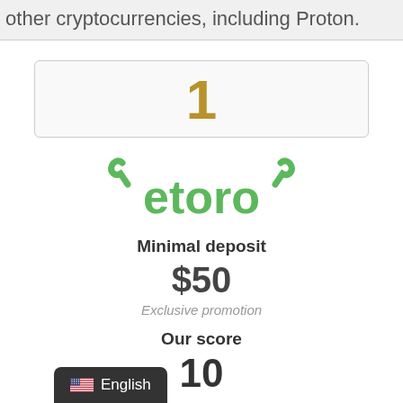other cryptocurrencies, including Proton.
1
[Figure (logo): eToro green logo with bull horns]
Minimal deposit
$50
Exclusive promotion
Our score
10
English